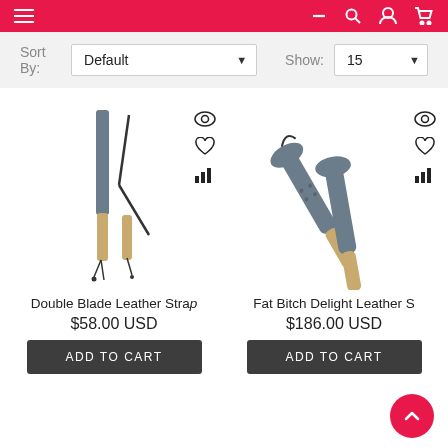Navigation bar with menu, search, account, cart icons
Sort By: Default   Show: 15
[Figure (photo): Double Blade Leather Strap product photo - two whip-like implements with wooden handles]
Double Blade Leather Strap
$58.00 USD
ADD TO CART
[Figure (photo): Fat Bitch Delight Leather Strap product photo - two paddle-like implements with wooden handles and grey leather pads]
Fat Bitch Delight Leather S
$186.00 USD
ADD TO CART